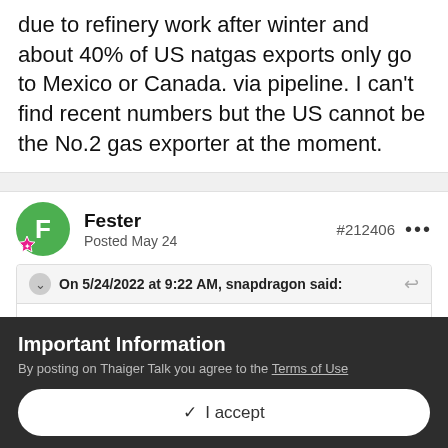due to refinery work after winter and about 40% of US natgas exports only go to Mexico or Canada. via pipeline. I can't find recent numbers but the US cannot be the No.2 gas exporter at the moment.
Fester
Posted May 24
#212406
On 5/24/2022 at 9:22 AM, snapdragon said:
I'm sure that posters on this thread know all about the Nazi Azov Battalions. These neo-Nazis,
Important Information
By posting on Thaiger Talk you agree to the Terms of Use
✓  I accept